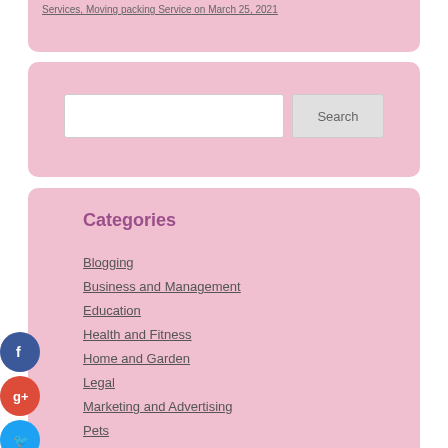Services, Moving packing Service on March 25, 2021
Search
Categories
Blogging
Business and Management
Education
Health and Fitness
Home and Garden
Legal
Marketing and Advertising
Pets
Technology and Gadgets
Travel and Leisure